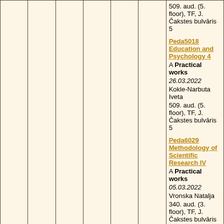|  |  |  |  |  |  | 509. aud. (5. floor), TF, J. Čakstes bulvāris 5

Peda5018 Education and Psychology 4
A Practical works
26.03.2022
Kokle-Narbuta Iveta
509. aud. (5. floor), TF, J. Čakstes bulvāris 5

Peda6029 Methodology of Scientific Research IV
A Practical works
05.03.2022
Vronska Natalja
340. aud. (3. floor), TF, J. Čakstes bulvāris 5

Peda6029 Methodology of Scientific Research IV
A Practical works |